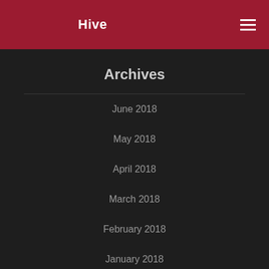Hive
Archives
June 2018
May 2018
April 2018
March 2018
February 2018
January 2018
December 2017